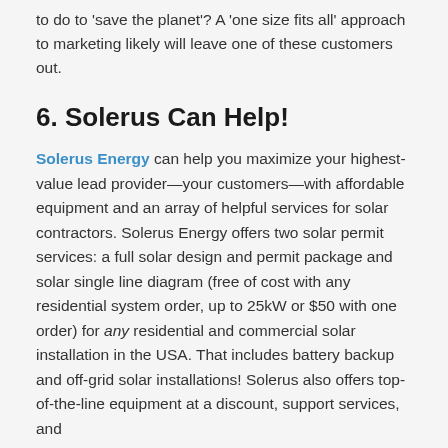to do to 'save the planet'? A 'one size fits all' approach to marketing likely will leave one of these customers out.
6. Solerus Can Help!
Solerus Energy can help you maximize your highest-value lead provider—your customers—with affordable equipment and an array of helpful services for solar contractors. Solerus Energy offers two solar permit services: a full solar design and permit package and solar single line diagram (free of cost with any residential system order, up to 25kW or $50 with one order) for any residential and commercial solar installation in the USA. That includes battery backup and off-grid solar installations! Solerus also offers top-of-the-line equipment at a discount, support services, and